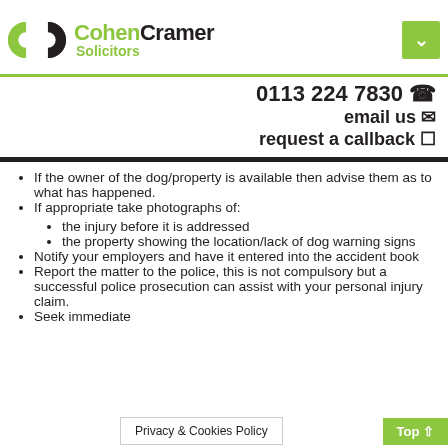[Figure (logo): Cohen Cramer Solicitors logo with green and black interlocking C shapes]
0113 224 7830 ☎
email us ✉
request a callback ☐
If the owner of the dog/property is available then advise them as to what has happened.
If appropriate take photographs of:
the injury before it is addressed
the property showing the location/lack of dog warning signs
Notify your employers and have it entered into the accident book
Report the matter to the police, this is not compulsory but a successful police prosecution can assist with your personal injury claim.
Seek immediate...
Privacy & Cookies Policy
Top ⇑